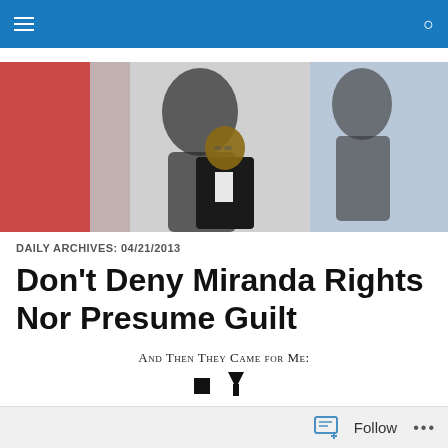Navigation bar with hamburger menu and search icon
[Figure (photo): A man in a dark blazer standing in a corridor with dramatic shadow silhouettes of figures on the walls behind him, with a red panel on the left.]
DAILY ARCHIVES: 04/21/2013
Don't Deny Miranda Rights Nor Presume Guilt
And Then They Came for Me:
Follow